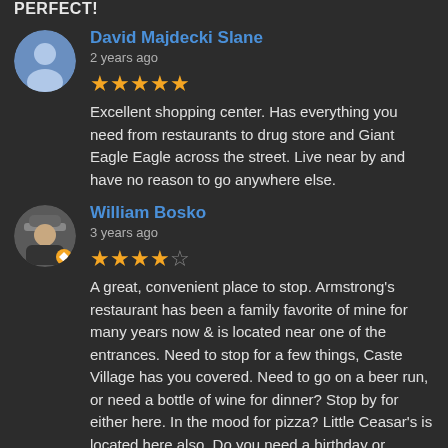PERFECT!
David Majdecki Slane
2 years ago
★★★★★ Excellent shopping center. Has everything you need from restaurants to drug store and Giant Eagle Eagle across the street. Live near by and have no reason to go anywhere else.
William Bosko
3 years ago
★★★★☆ A great, convenient place to stop. Armstrong's restaurant has been a family favorite of mine for many years now & is located near one of the entrances. Need to stop for a few things, Caste Village has you covered. Need to go on a beer run, or need a bottle of wine for dinner? Stop by for either here. In the mood for pizza? Little Ceasar's is located here also. Do you need a birthday or holiday card? Hallmark's got you covered. Maybe you just need a gallon of milk & a loaf of bread. Giant Eagle is directly across the street from Caste Village. No matter what you need, Caste Village, conveniently located at the end of Grove Road, is a nice, clean, safe & convenient